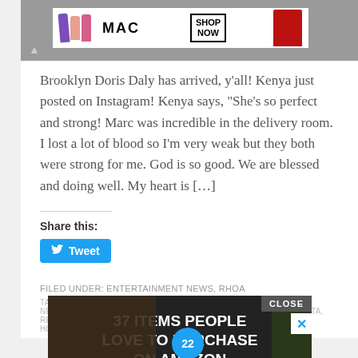[Figure (photo): MAC cosmetics advertisement banner with lipsticks and SHOP NOW button, on grey background]
Brooklyn Doris Daly has arrived, y'all! Kenya just posted on Instagram! Kenya says, “She’s so perfect and strong! Marc was incredible in the delivery room. I lost a lot of blood so I’m very weak but they both were strong for me. God is so good. We are blessed and doing well. My heart is […]
Share this:
Tweet
FILED UNDER: ENTERTAINMENT NEWS, RHOA
TAGGED WITH: BABIES, BROOKLYN DORIS DALY, ENTERTAINMENT NEWS, KENYA MOORE, MARC DALY, REAL HOUSEWIVES OF ATLANTA, RHOA
[Figure (photo): Advertisement overlay: 37 ITEMS PEOPLE LOVE TO PURCHASE ON AMAZON with kitchen/food imagery and badge showing 22]